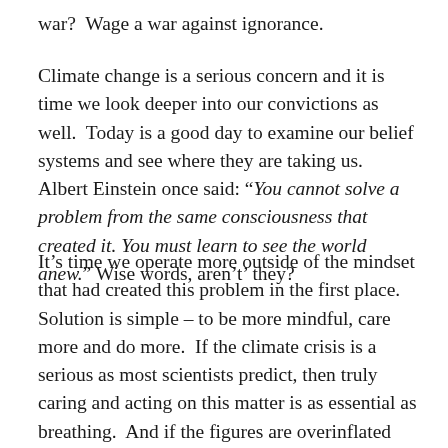war?  Wage a war against ignorance.
Climate change is a serious concern and it is time we look deeper into our convictions as well.  Today is a good day to examine our belief systems and see where they are taking us.  Albert Einstein once said: “You cannot solve a problem from the same consciousness that created it. You must learn to see the world anew.” Wise words, aren’t’ they?
It’s time we operate more outside of the mindset that had created this problem in the first place.  Solution is simple – to be more mindful, care more and do more.  If the climate crisis is a serious as most scientists predict, then truly caring and acting on this matter is as essential as breathing.  And if the figures are overinflated and it’s not all doom and gloom… well, then we’re simply a more caring race who got their act together sooner than it was necessary.  Our kids won’t